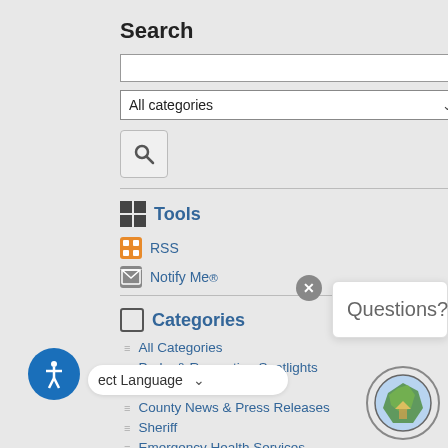Search
[Figure (screenshot): Search input box (empty text field)]
[Figure (screenshot): All categories dropdown select]
[Figure (screenshot): Search button with magnifying glass icon]
Tools
RSS
Notify Me®
Categories
All Categories
Parks & Recreation Spotlights
District Attorney News
County News & Press Releases
Sheriff
Emergency Health Services
HUB -Spotlights
Fraud Alerts
Questions?
ect Language